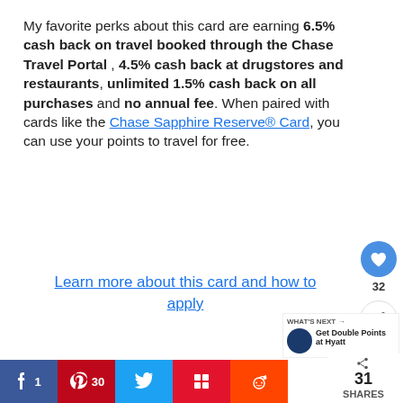My favorite perks about this card are earning 6.5% cash back on travel booked through the Chase Travel Portal , 4.5% cash back at drugstores and restaurants, unlimited 1.5% cash back on all purchases and no annual fee. When paired with cards like the Chase Sapphire Reserve® Card, you can use your points to travel for free.
Learn more about this card and how to apply